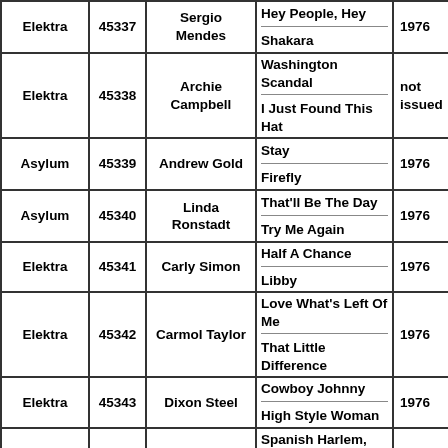| Label | Cat# | Artist | Songs | Year |
| --- | --- | --- | --- | --- |
| Elektra | 45337 | Sergio Mendes | Hey People, Hey / Shakara | 1976 |
| Elektra | 45338 | Archie Campbell | Washington Scandal / I Just Found This Hat | not issued |
| Asylum | 45339 | Andrew Gold | Stay / Firefly | 1976 |
| Asylum | 45340 | Linda Ronstadt | That'll Be The Day / Try Me Again | 1976 |
| Elektra | 45341 | Carly Simon | Half A Chance / Libby | 1976 |
| Elektra | 45342 | Carmol Taylor | Love What's Left Of Me / That Little Difference | 1976 |
| Elektra | 45343 | Dixon Steel | Cowboy Johnny / High Style Woman | 1976 |
| Elektra | 45344 | Tony Orlando and Dawn | Spanish Harlem, Rosalita And Me / Sweet On Candy | not issued |
|  |  |  | Medicated Goo |  |